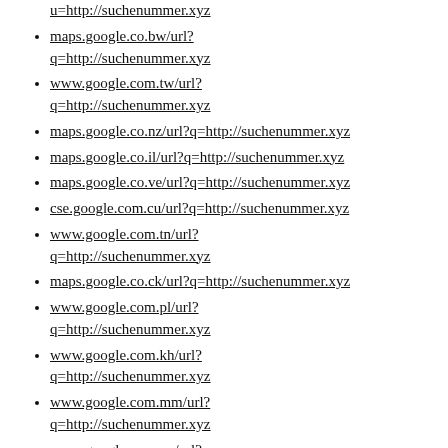u=http://suchenummer.xyz
maps.google.co.bw/url?q=http://suchenummer.xyz
www.google.com.tw/url?q=http://suchenummer.xyz
maps.google.co.nz/url?q=http://suchenummer.xyz
maps.google.co.il/url?q=http://suchenummer.xyz
maps.google.co.ve/url?q=http://suchenummer.xyz
cse.google.com.cu/url?q=http://suchenummer.xyz
www.google.com.tn/url?q=http://suchenummer.xyz
maps.google.co.ck/url?q=http://suchenummer.xyz
www.google.com.pl/url?q=http://suchenummer.xyz
www.google.com.kh/url?q=http://suchenummer.xyz
www.google.com.mm/url?q=http://suchenummer.xyz
www.google.com.uy/url?